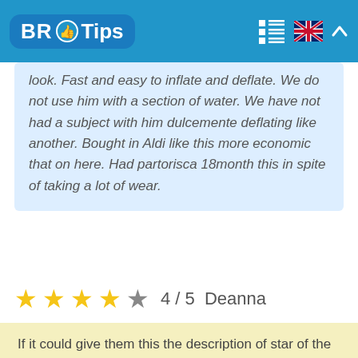BR Tips
look. Fast and easy to inflate and deflate. We do not use him with a section of water. We have not had a subject with him dulcemente deflating like another. Bought in Aldi like this more economic that on here. Had partorisca 18month this in spite of taking a lot of wear.
4 / 5  Deanna
If it could give them this the description of star of the z/of the Zero, then the . Esees Has Had to that send this element behind and ask the substitution 3 times any word of the lie, each one that 4 weeks